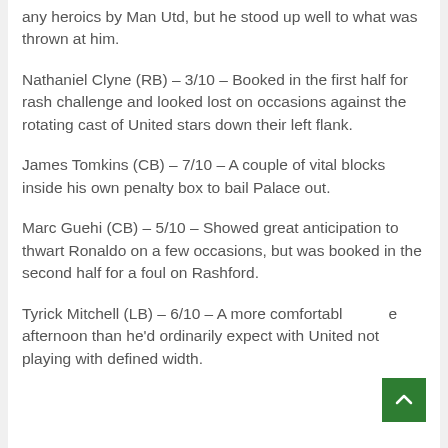any heroics by Man Utd, but he stood up well to what was thrown at him.
Nathaniel Clyne (RB) – 3/10 – Booked in the first half for rash challenge and looked lost on occasions against the rotating cast of United stars down their left flank.
James Tomkins (CB) – 7/10 – A couple of vital blocks inside his own penalty box to bail Palace out.
Marc Guehi (CB) – 5/10 – Showed great anticipation to thwart Ronaldo on a few occasions, but was booked in the second half for a foul on Rashford.
Tyrick Mitchell (LB) – 6/10 – A more comfortable afternoon than he'd ordinarily expect with United not playing with defined width.